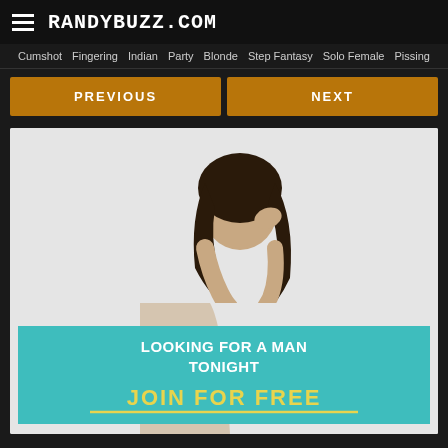RANDYBUZZ.COM
Cumshot  Fingering  Indian  Party  Blonde  Step Fantasy  Solo Female  Pissing
PREVIOUS  NEXT
[Figure (photo): Advertisement image showing a woman with dark hair with overlay text reading LOOKING FOR A MAN TONIGHT and JOIN FOR FREE on a teal background]